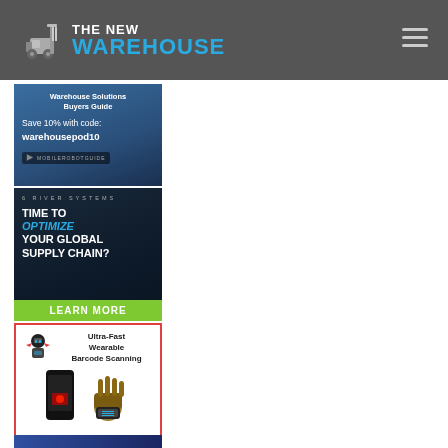[Figure (logo): The New Warehouse logo with forklift icon, white and blue text on dark grey header bar]
[Figure (infographic): Ad: Warehouse Solutions Buyers Guide - Save 10% with code: warehousepod10 - Mobile Robot Guide badge, blue background]
[Figure (infographic): Ad: 6 River Systems - Time to Optimize Your Global Supply Chain? Learn More - dark background with blue shelving]
[Figure (infographic): Ad: Ultra-Fast Wearable Barcode Scanning - device and glove scanner images, red border]
[Figure (photo): Partial ad at bottom, blue/purple gradient background]